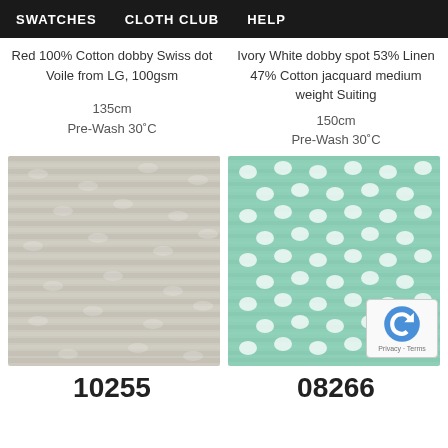SWATCHES   CLOTH CLUB   HELP
Red 100% Cotton dobby Swiss dot Voile from LG, 100gsm
135cm
Pre-Wash 30˚C
Ivory White dobby spot 53% Linen 47% Cotton jacquard medium weight Suiting
150cm
Pre-Wash 30˚C
[Figure (photo): Light beige/cream textured woven fabric swatch with subtle horizontal dobby pattern]
[Figure (photo): Mint/teal green fabric swatch with white dobby spot pattern]
10255
08266